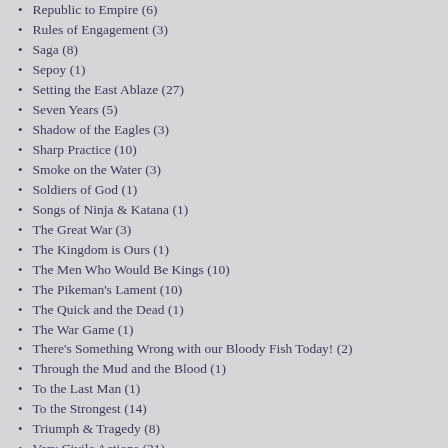Republic to Empire (6)
Rules of Engagement (3)
Saga (8)
Sepoy (1)
Setting the East Ablaze (27)
Seven Years (5)
Shadow of the Eagles (3)
Sharp Practice (10)
Smoke on the Water (3)
Soldiers of God (1)
Songs of Ninja & Katana (1)
The Great War (3)
The Kingdom is Ours (1)
The Men Who Would Be Kings (10)
The Pikeman's Lament (10)
The Quick and the Dead (1)
The War Game (1)
There's Something Wrong with our Bloody Fish Today! (2)
Through the Mud and the Blood (1)
To the Last Man (1)
To the Strongest (14)
Triumph & Tragedy (8)
Very Civile Actions (21)
Vietnam Skirmish Rules (2)
Waiting for Bonaparte (1)
Warfare in the Age of Napoleon (3)
Warfare in the Age of Reason (1)
What a Tanker! (5)
Where the Poppies Grow (1)